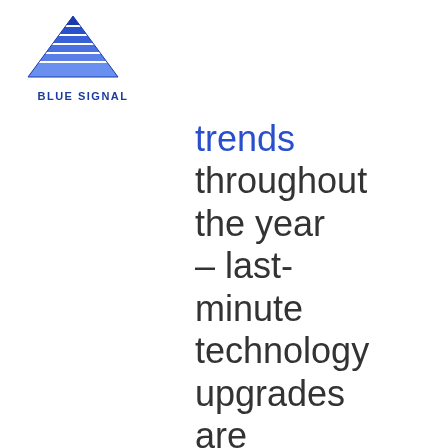[Figure (logo): Blue Signal logo: blue striped triangle/mountain shape above text BLUE SIGNAL]
trends throughout the year – last-minute technology upgrades are never convenient or cheap. After you